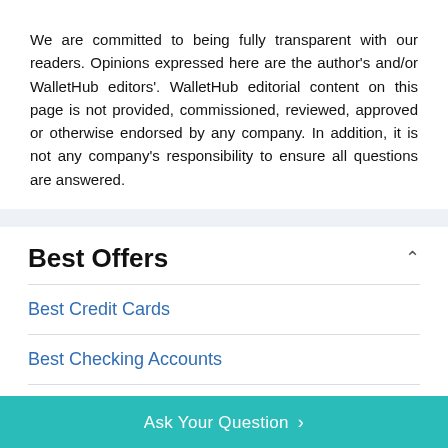We are committed to being fully transparent with our readers. Opinions expressed here are the author's and/or WalletHub editors'. WalletHub editorial content on this page is not provided, commissioned, reviewed, approved or otherwise endorsed by any company. In addition, it is not any company's responsibility to ensure all questions are answered.
Best Offers
Best Credit Cards
Best Checking Accounts
Best Savings Accounts
Best Travel Credit Cards
Best Cash Back Credit Cards
Best Business Credit Cards
Ask Your Question >